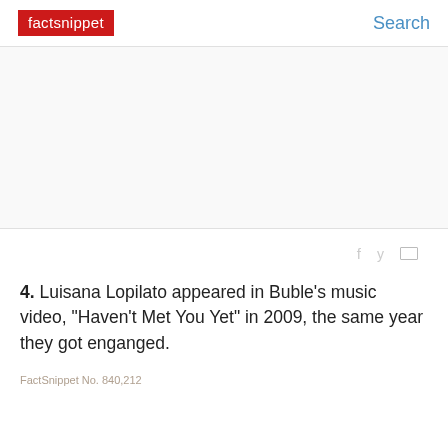factsnippet | Search
[Figure (other): Advertisement placeholder area (blank white/light gray rectangle)]
4. Luisana Lopilato appeared in Buble's music video, "Haven't Met You Yet" in 2009, the same year they got enganged.
FactSnippet No. 840,212